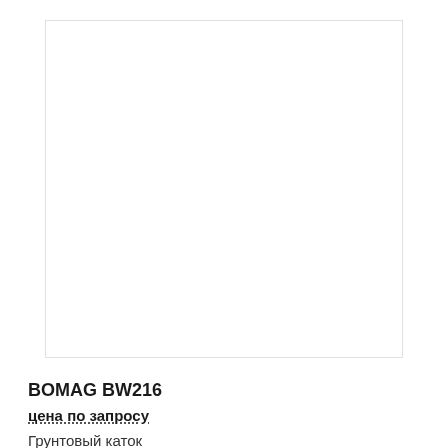[Figure (photo): Product image placeholder for BOMAG BW216, white rectangle with border]
BOMAG BW216
цена по запросу
Грунтовый каток
Азербайджан, Bakı
[Figure (photo): Second product image placeholder, white rectangle with border]